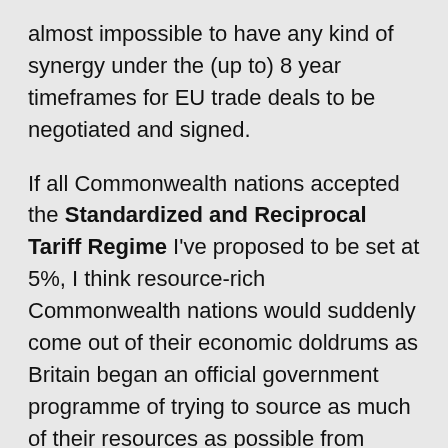almost impossible to have any kind of synergy under the (up to) 8 year timeframes for EU trade deals to be negotiated and signed.
If all Commonwealth nations accepted the Standardized and Reciprocal Tariff Regime I've proposed to be set at 5%, I think resource-rich Commonwealth nations would suddenly come out of their economic doldrums as Britain began an official government programme of trying to source as much of their resources as possible from fellow Commonwealth nations (which would occur organically, due to the preferential 5% tariff regime for Commonwealth nations, which in the first instance)